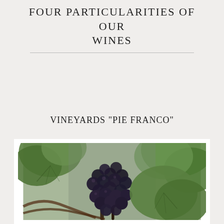FOUR PARTICULARITIES OF OUR WINES
VINEYARDS "PIE FRANCO"
[Figure (photo): Close-up photograph of dark blue/black wine grapes on the vine surrounded by green grape leaves]